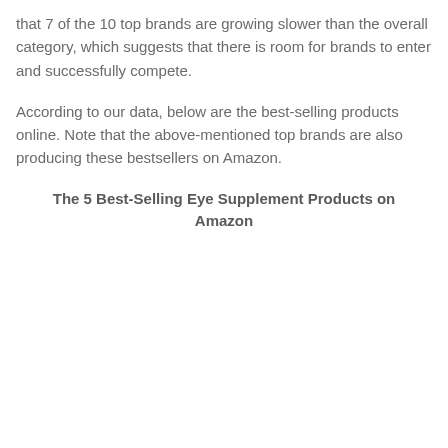that 7 of the 10 top brands are growing slower than the overall category, which suggests that there is room for brands to enter and successfully compete.
According to our data, below are the best-selling products online. Note that the above-mentioned top brands are also producing these bestsellers on Amazon.
The 5 Best-Selling Eye Supplement Products on Amazon